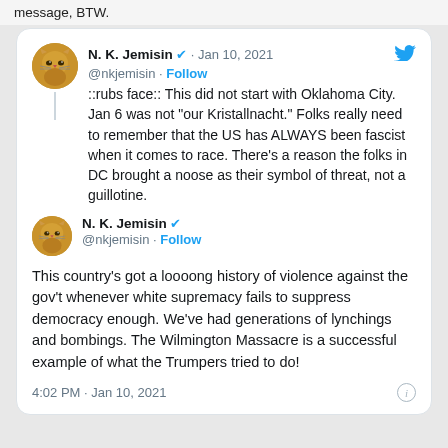message, BTW.
[Figure (screenshot): Embedded tweet thread screenshot showing two tweets by N. K. Jemisin (@nkjemisin) dated Jan 10, 2021. First tweet: '::rubs face:: This did not start with Oklahoma City. Jan 6 was not "our Kristallnacht." Folks really need to remember that the US has ALWAYS been fascist when it comes to race. There's a reason the folks in DC brought a noose as their symbol of threat, not a guillotine.' Second tweet: 'This country's got a loooong history of violence against the gov't whenever white supremacy fails to suppress democracy enough. We've had generations of lynchings and bombings. The Wilmington Massacre is a successful example of what the Trumpers tried to do!' Timestamp: 4:02 PM · Jan 10, 2021]